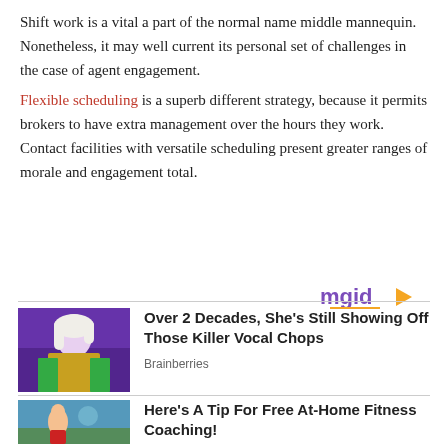Shift work is a vital a part of the normal name middle mannequin. Nonetheless, it may well current its personal set of challenges in the case of agent engagement.
Flexible scheduling is a superb different strategy, because it permits brokers to have extra management over the hours they work. Contact facilities with versatile scheduling present greater ranges of morale and engagement total.
[Figure (other): mgid logo with orange play button triangle, followed by a horizontal divider line]
[Figure (photo): Photo of a female performer with platinum blonde hair in a colorful outfit on stage with blue lighting. Advertisement for article 'Over 2 Decades, She's Still Showing Off Those Killer Vocal Chops' by Brainberries]
Over 2 Decades, She's Still Showing Off Those Killer Vocal Chops
Brainberries
[Figure (photo): Photo of a woman outdoors stretching/exercising with trees in background. Advertisement for article 'Here's A Tip For Free At-Home Fitness Coaching!']
Here's A Tip For Free At-Home Fitness Coaching!